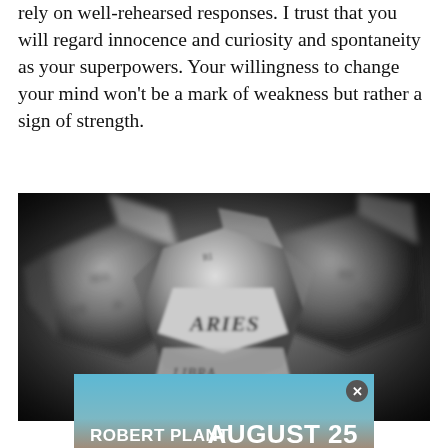rely on well-rehearsed responses. I trust that you will regard innocence and curiosity and spontaneity as your superpowers. Your willingness to change your mind won't be a mark of weakness but rather a sign of strength.
[Figure (photo): Black and white close-up photograph of polyhedral dice with zodiac sign names engraved on their faces. The central die prominently shows 'ARIES' on one face and 'LIBRA' on another face below it. Other dice are visible on either side in soft focus.]
[Figure (infographic): Advertisement banner with gradient background (blue sky to orange/red ground). Left side shows artist names 'ROBERT PLANT' and 'ALISON KRAUSS' in bold white text. Right side shows 'AUGUST 25' in large bold white text with 'HAYDEN HOMES AMPHITHEATER' below in smaller bold white text. A close button (X) appears in the top right corner.]